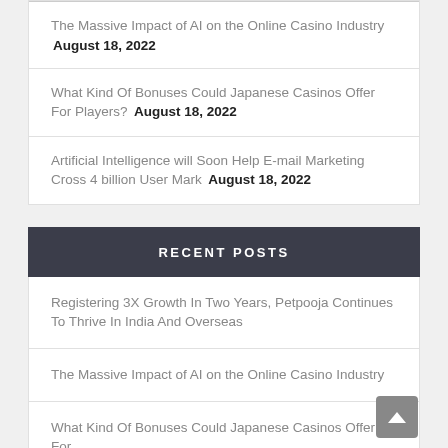The Massive Impact of AI on the Online Casino Industry August 18, 2022
What Kind Of Bonuses Could Japanese Casinos Offer For Players? August 18, 2022
Artificial Intelligence will Soon Help E-mail Marketing Cross 4 billion User Mark August 18, 2022
RECENT POSTS
Registering 3X Growth In Two Years, Petpooja Continues To Thrive In India And Overseas
The Massive Impact of AI on the Online Casino Industry
What Kind Of Bonuses Could Japanese Casinos Offer For